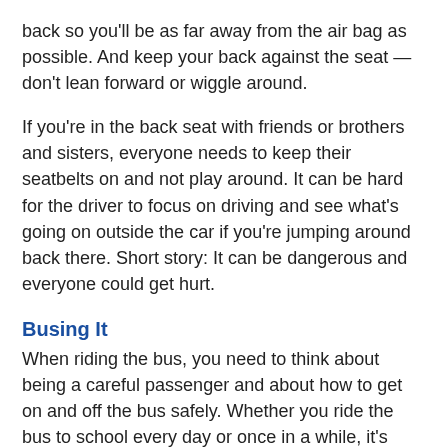back so you'll be as far away from the air bag as possible. And keep your back against the seat — don't lean forward or wiggle around.
If you're in the back seat with friends or brothers and sisters, everyone needs to keep their seatbelts on and not play around. It can be hard for the driver to focus on driving and see what's going on outside the car if you're jumping around back there. Short story: It can be dangerous and everyone could get hurt.
Busing It
When riding the bus, you need to think about being a careful passenger and about how to get on and off the bus safely. Whether you ride the bus to school every day or once in a while, it's important to follow these rules: